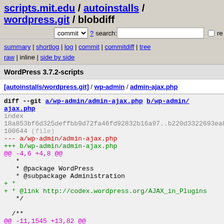scripts.mit.edu / autoinstalls / wordpress.git / blobdiff
commit ? search: re
summary | shortlog | log | commit | commitdiff | tree raw | inline | side by side
WordPress 3.7.2-scripts
[autoinstalls/wordpress.git] / wp-admin / admin-ajax.php
diff --git a/wp-admin/admin-ajax.php b/wp-admin/admin-ajax.php
index 18a853bf6d325deffbb9d72fa46fd92832b16a97..b220d3322693ea8a0 100644 (file)
--- a/wp-admin/admin-ajax.php
+++ b/wp-admin/admin-ajax.php
@@ -4,6 +4,8 @@
   *
   * @package WordPress
   * @subpackage Administration
+ *
+ * @link http://codex.wordpress.org/AJAX_in_Plugins
   */
 
 /**
@@ -11,1545 +13,82 @@